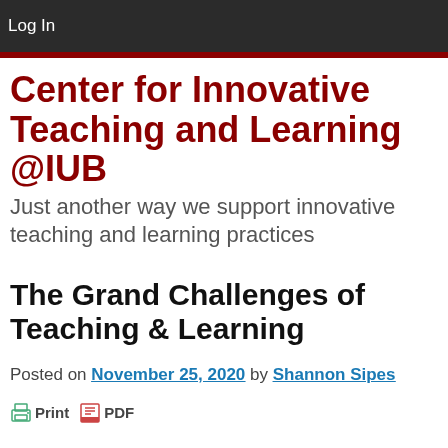Log In
Center for Innovative Teaching and Learning @IUB
Just another way we support innovative teaching and learning practices
The Grand Challenges of Teaching & Learning
Posted on November 25, 2020 by Shannon Sipes
Print  PDF